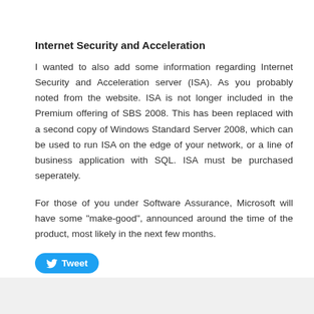Internet Security and Acceleration
I wanted to also add some information regarding Internet Security and Acceleration server (ISA). As you probably noted from the website. ISA is not longer included in the Premium offering of SBS 2008. This has been replaced with a second copy of Windows Standard Server 2008, which can be used to run ISA on the edge of your network, or a line of business application with SQL. ISA must be purchased seperately.
For those of you under Software Assurance, Microsoft will have some "make-good", announced around the time of the product, most likely in the next few months.
[Figure (other): Twitter Tweet button]
Posted in SBS 2003, SBS 2008